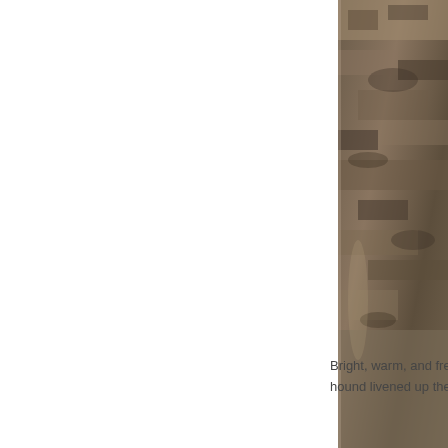[Figure (photo): A photograph of an animal (appears to be a big cat or similar wildlife) partially visible on the right side of the page, cropped so only part of the animal is visible. The image shows textured fur/stone in muted brown and grey tones.]
Bright, warm, and fresh, a hound livened up the mornin